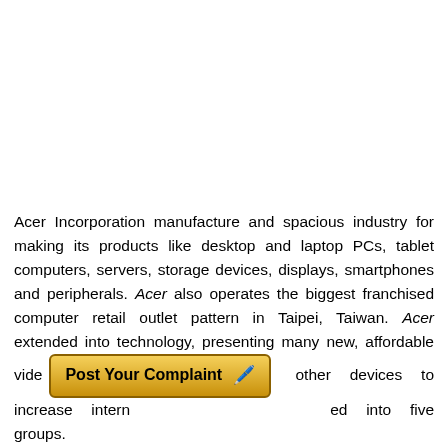Acer Incorporation manufacture and spacious industry for making its products like desktop and laptop PCs, tablet computers, servers, storage devices, displays, smartphones and peripherals. Acer also operates the biggest franchised computer retail outlet pattern in Taipei, Taiwan. Acer extended into technology, presenting many new, affordable vide other devices to increase intern ed into five groups.